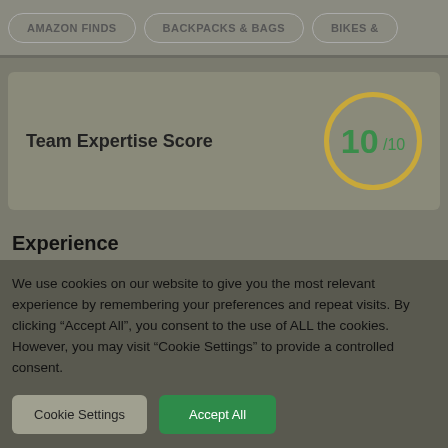AMAZON FINDS | BACKPACKS & BAGS | BIKES &
[Figure (infographic): Team Expertise Score badge showing 10/10 in a gold circle with green text]
Experience
We use cookies on our website to give you the most relevant experience by remembering your preferences and repeat visits. By clicking "Accept All", you consent to the use of ALL the cookies. However, you may visit "Cookie Settings" to provide a controlled consent.
Cookie Settings | Accept All